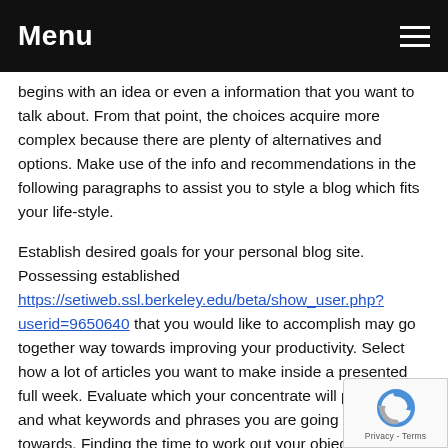Menu
begins with an idea or even a information that you want to talk about. From that point, the choices acquire more complex because there are plenty of alternatives and options. Make use of the info and recommendations in the following paragraphs to assist you to style a blog which fits your life-style.
Establish desired goals for your personal blog site. Possessing established https://setiweb.ssl.berkeley.edu/beta/show_user.php?userid=9650640 that you would like to accomplish may go together way towards improving your productivity. Select how a lot of articles you want to make inside a presented full week. Evaluate which your concentrate will probably be and what keywords and phrases you are going to be aimed towards. Finding the time to work out your objectives, helps keep you on focus and running a blog productively.
Take any tips as you become them for writing a blog. Be develop a spot where they may be kept. Producing just when